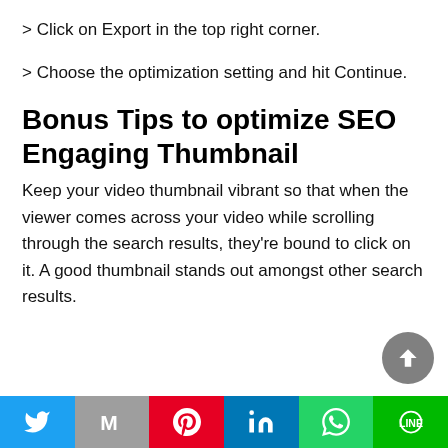> Click on Export in the top right corner.
> Choose the optimization setting and hit Continue.
Bonus Tips to optimize SEO Engaging Thumbnail
Keep your video thumbnail vibrant so that when the viewer comes across your video while scrolling through the search results, they're bound to click on it. A good thumbnail stands out amongst other search results.
Social share bar: Twitter, Mail, Pinterest, LinkedIn, WhatsApp, Line